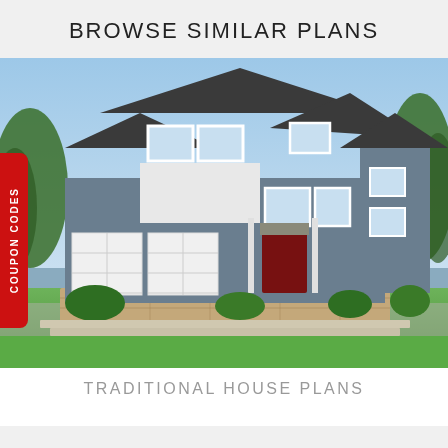BROWSE SIMILAR PLANS
[Figure (photo): Front exterior rendering of a two-story traditional craftsman-style house with gray horizontal siding, white trim, stone accents, two-car garage with white carriage doors, red front door, multiple gabled roof lines, and lush landscaping. A red vertical tab on the left edge reads 'COUPON CODES'.]
TRADITIONAL HOUSE PLANS